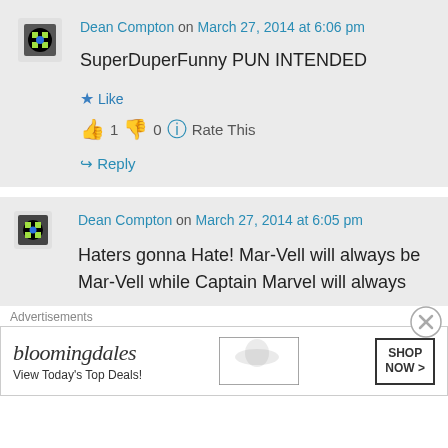Dean Compton on March 27, 2014 at 6:06 pm
SuperDuperFunny PUN INTENDED
Like
👍 1 👎 0 ℹ Rate This
↪ Reply
Dean Compton on March 27, 2014 at 6:05 pm
Haters gonna Hate! Mar-Vell will always be Mar-Vell while Captain Marvel will always
Advertisements
[Figure (other): Bloomingdale's advertisement banner with woman in large hat and Shop Now button]